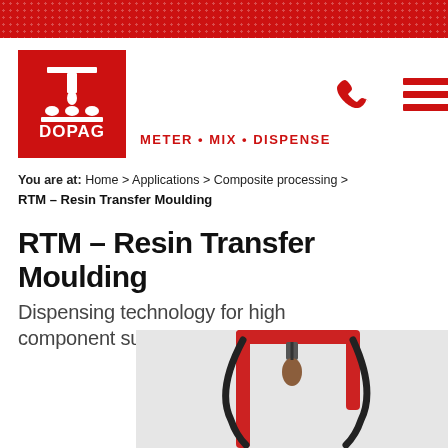[Figure (logo): DOPAG logo - red square with white dispensing machine icon and DOPAG text, tagline METER・MIX・DISPENSE in red]
[Figure (illustration): Navigation icons: red phone handset icon and red hamburger menu icon]
You are at:  Home > Applications > Composite processing > RTM – Resin Transfer Moulding
RTM – Resin Transfer Moulding
Dispensing technology for high component surface quality
[Figure (illustration): Partial image of a DOPAG RTM dispensing machine on grey background, showing a machine frame with hoses and dispensing head]